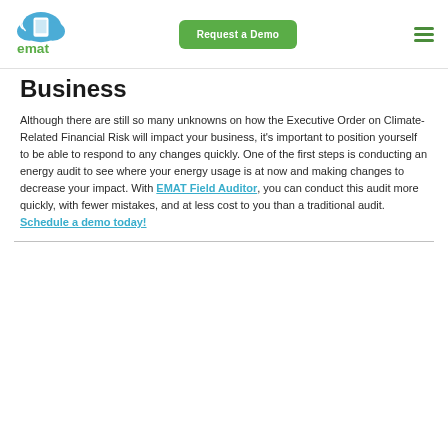emat logo | Request a Demo | hamburger menu
Business
Although there are still so many unknowns on how the Executive Order on Climate-Related Financial Risk will impact your business, it's important to position yourself to be able to respond to any changes quickly. One of the first steps is conducting an energy audit to see where your energy usage is at now and making changes to decrease your impact. With EMAT Field Auditor, you can conduct this audit more quickly, with fewer mistakes, and at less cost to you than a traditional audit. Schedule a demo today!